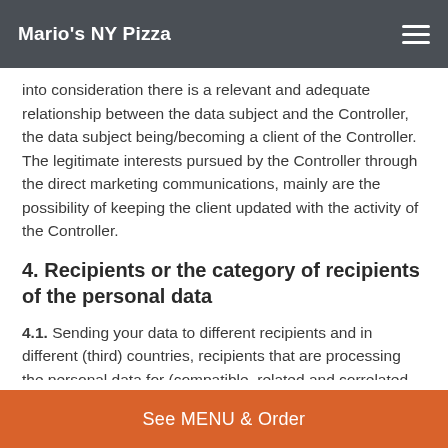Mario's NY Pizza
into consideration there is a relevant and adequate relationship between the data subject and the Controller, the data subject being/becoming a client of the Controller. The legitimate interests pursued by the Controller through the direct marketing communications, mainly are the possibility of keeping the client updated with the activity of the Controller.
4. Recipients or the category of recipients of the personal data
4.1. Sending your data to different recipients and in different (third) countries, recipients that are processing the personal data for (compatible, related and correlated purposes with) the purpose of executing the contract you have with the Controller, namely: delivery providers, printing
See MENU & Order